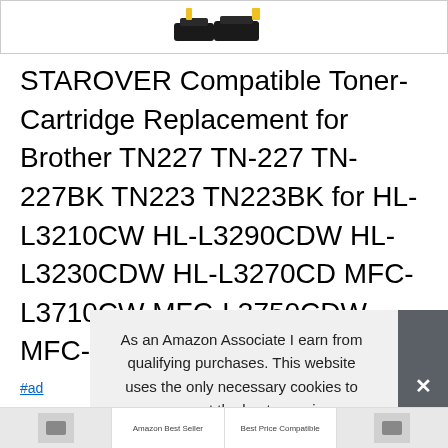[Figure (photo): Partial image of STAROVER compatible toner cartridges at top of page]
STAROVER Compatible Toner-Cartridge Replacement for Brother TN227 TN-227 TN-227BK TN223 TN223BK for HL-L3210CW HL-L3290CDW HL-L3230CDW HL-L3270CD MFC-L3710CW MFC-L3750CDW MFC-L3770CDW Printer 4-Pa
#ad
As an Amazon Associate I earn from qualifying purchases. This website uses the only necessary cookies to ensure you get the best experience on our website. More information
[Figure (screenshot): Bottom thumbnail strip showing related product images and links]